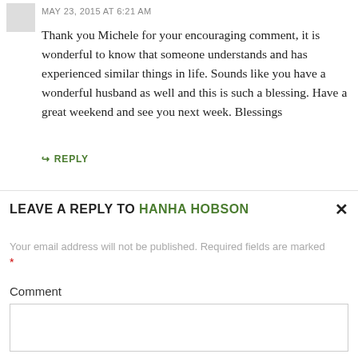MAY 23, 2015 AT 6:21 AM
Thank you Michele for your encouraging comment, it is wonderful to know that someone understands and has experienced similar things in life. Sounds like you have a wonderful husband as well and this is such a blessing. Have a great weekend and see you next week. Blessings
↪ REPLY
LEAVE A REPLY TO HANHA HOBSON
Your email address will not be published. Required fields are marked *
Comment